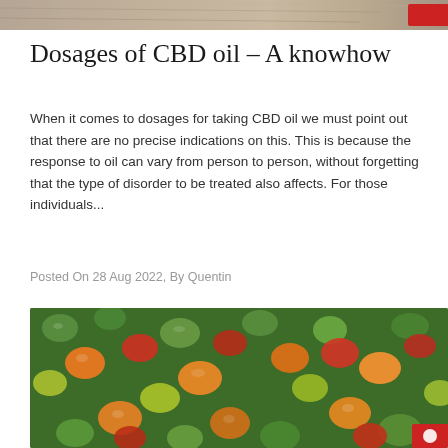[Figure (photo): Top portion of a photo showing what appears to be a wooden surface or food item, partially cropped]
Dosages of CBD oil – A knowhow
When it comes to dosages for taking CBD oil we must point out that there are no precise indications on this. This is because the response to oil can vary from person to person, without forgetting that the type of disorder to be treated also affects. For those individuals...
Posted On 28 Aug 2022, By Quentin
[Figure (photo): Close-up photograph of colorful mixed gummy candies or jelly sweets in green, orange, red, and yellow colors]